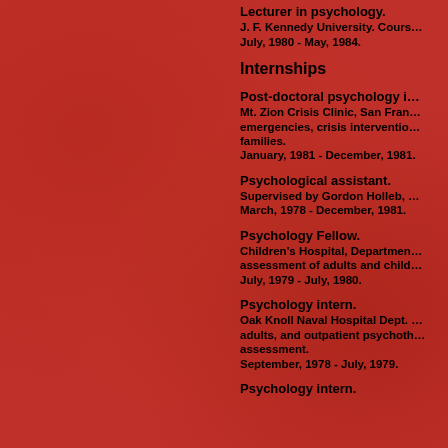Lecturer in psychology. J. F. Kennedy University. Cours… July, 1980 - May, 1984.
Internships
Post-doctoral psychology i… Mt. Zion Crisis Clinic, San Fran… emergencies, crisis interventio… families. January, 1981 - December, 1981.
Psychological assistant. Supervised by Gordon Holleb, … March, 1978 - December, 1981.
Psychology Fellow. Children's Hospital, Departmen… assessment of adults and child… July, 1979 - July, 1980.
Psychology intern. Oak Knoll Naval Hospital Dept. … adults, and outpatient psychoth… assessment. September, 1978 - July, 1979.
Psychology intern.